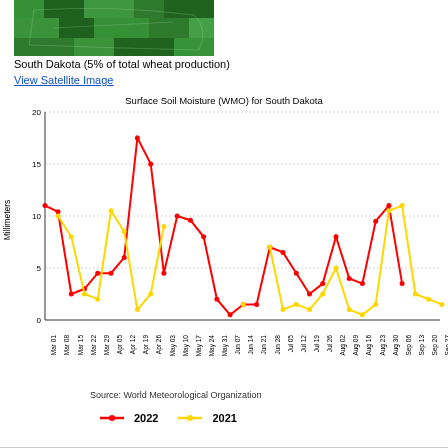[Figure (photo): Satellite image of South Dakota wheat fields, green vegetation map]
South Dakota (5% of total wheat production)
View Satellite Image
[Figure (line-chart): Surface Soil Moisture (WMO) for South Dakota]
Source: World Meteorological Organization